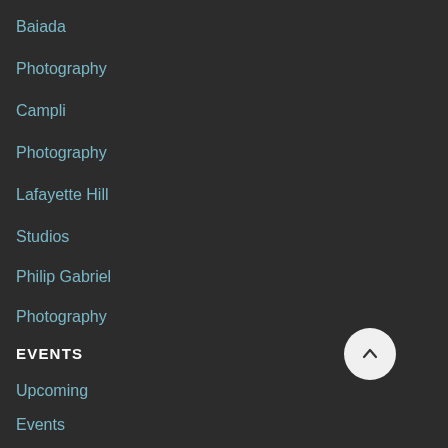Baiada
Photography
Campli
Photography
Lafayette Hill
Studios
Philip Gabriel
Photography
EVENTS
Upcoming
Events
Previous
Events
[Figure (illustration): White circular scroll-to-top button with an upward chevron arrow, positioned at bottom-right of the page]